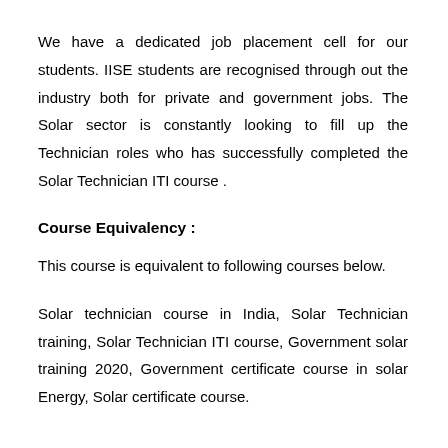We have a dedicated job placement cell for our students. IISE students are recognised through out the industry both for private and government jobs. The Solar sector is constantly looking to fill up the Technician roles who has successfully completed the Solar Technician ITI course .
Course Equivalency :
This course is equivalent to following courses below.
Solar technician course in India, Solar Technician training, Solar Technician ITI course, Government solar training 2020, Government certificate course in solar Energy, Solar certificate course.